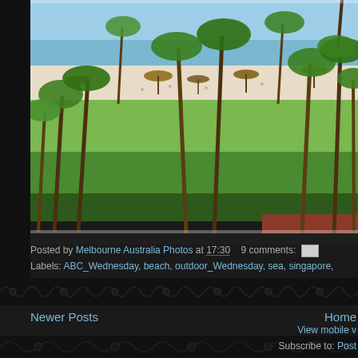[Figure (photo): Aerial or elevated view of a tropical beach resort with white sand, palm trees, beach umbrellas, and turquoise water. Dense palm forest in the foreground, sandy beach in the middle distance with sunbathers and umbrellas, ocean beyond.]
Posted by Melbourne Australia Photos at 17:30   9 comments:
Labels: ABC_Wednesday, beach, outdoor_Wednesday, sea, singapore,
Newer Posts
Home
View mobile v
Subscribe to: Post